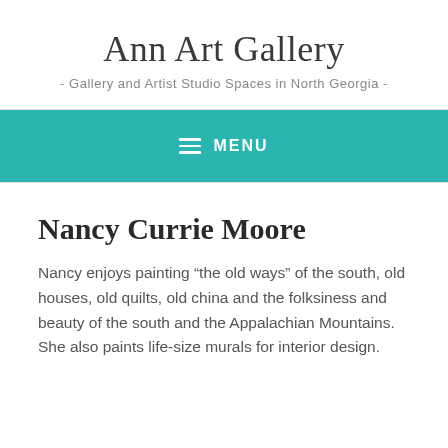Ann Art Gallery
- Gallery and Artist Studio Spaces in North Georgia -
≡ MENU
Nancy Currie Moore
Nancy enjoys painting “the old ways” of the south, old houses, old quilts, old china and the folksiness and beauty of the south and the Appalachian Mountains. She also paints life-size murals for interior design.